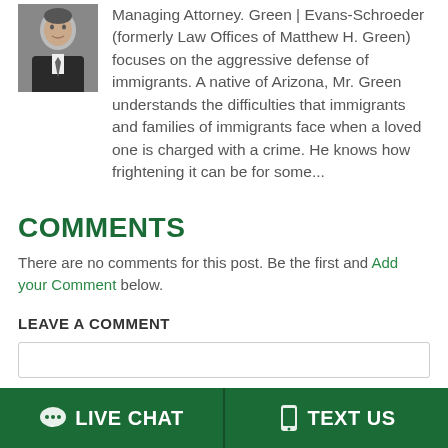[Figure (photo): Headshot photo of a man in a suit and tie]
Managing Attorney. Green | Evans-Schroeder (formerly Law Offices of Matthew H. Green) focuses on the aggressive defense of immigrants. A native of Arizona, Mr. Green understands the difficulties that immigrants and families of immigrants face when a loved one is charged with a crime. He knows how frightening it can be for some...
COMMENTS
There are no comments for this post. Be the first and Add your Comment below.
LEAVE A COMMENT